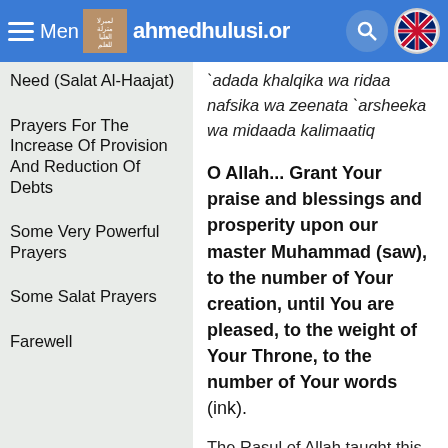Menu | ahmedhulusi.org
Need (Salat Al-Haajat)
`adada khalqika wa ridaa nafsika wa zeenata `arsheeka wa midaada kalimaatiq
Prayers For The Increase Of Provision And Reduction Of Debts
O Allah... Grant Your praise and blessings and prosperity upon our master Muhammad (saw), to the number of Your creation, until You are pleased, to the weight of Your Throne, to the number of Your words (ink).
Some Very Powerful Prayers
Some Salat Prayers
Farewell
The Rasul of Allah taught this salawat to his wife... Nobody can...